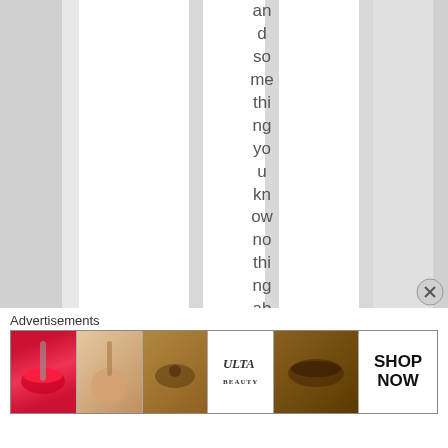and something you know nothing about. I do
[Figure (illustration): Advertisement banner showing beauty/makeup products including lips with brush, eyeshadow looks, ULTA beauty logo, and SHOP NOW call to action]
Advertisements